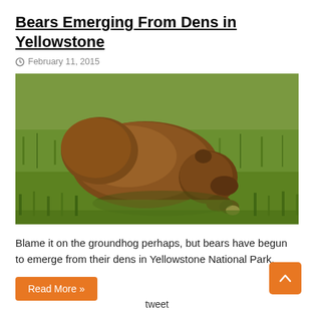Bears Emerging From Dens in Yellowstone
February 11, 2015
[Figure (photo): A brown grizzly bear foraging with head down in green grass, viewed from the side in Yellowstone National Park.]
Blame it on the groundhog perhaps, but bears have begun to emerge from their dens in Yellowstone National Park.
Read More »
tweet